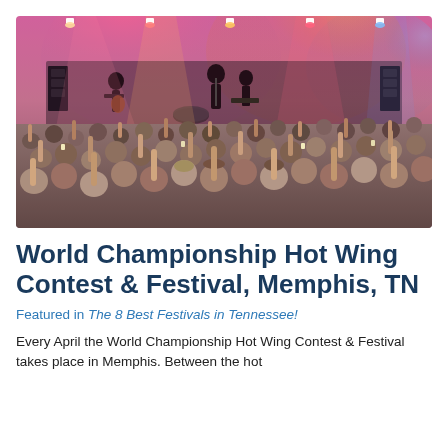[Figure (photo): Concert crowd photo with audience members raising their hands toward a brightly lit stage with pink and orange lights. Band members visible on stage with musical equipment.]
World Championship Hot Wing Contest & Festival, Memphis, TN
Featured in The 8 Best Festivals in Tennessee!
Every April the World Championship Hot Wing Contest & Festival takes place in Memphis. Between the hot